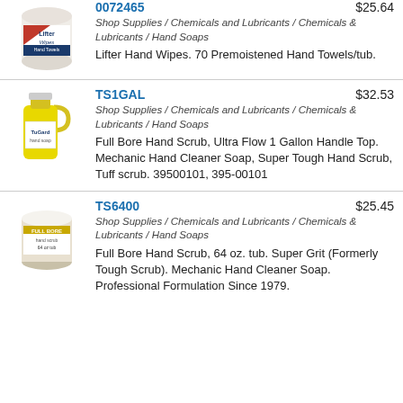[Figure (photo): Lifter Hand Wipes tub container]
0072465   $25.64
Shop Supplies / Chemicals and Lubricants / Chemicals & Lubricants / Hand Soaps
Lifter Hand Wipes. 70 Premoistened Hand Towels/tub.
[Figure (photo): Yellow gallon jug of Full Bore Hand Scrub]
TS1GAL   $32.53
Shop Supplies / Chemicals and Lubricants / Chemicals & Lubricants / Hand Soaps
Full Bore Hand Scrub, Ultra Flow 1 Gallon Handle Top. Mechanic Hand Cleaner Soap, Super Tough Hand Scrub, Tuff scrub. 39500101, 395-00101
[Figure (photo): White tub of Full Bore Hand Scrub 64 oz]
TS6400   $25.45
Shop Supplies / Chemicals and Lubricants / Chemicals & Lubricants / Hand Soaps
Full Bore Hand Scrub, 64 oz. tub. Super Grit (Formerly Tough Scrub). Mechanic Hand Cleaner Soap. Professional Formulation Since 1979.